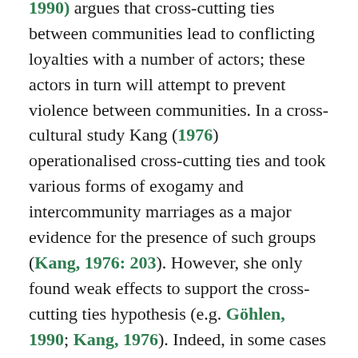1990) argues that cross-cutting ties between communities lead to conflicting loyalties with a number of actors; these actors in turn will attempt to prevent violence between communities. In a cross-cultural study Kang (1976) operationalised cross-cutting ties and took various forms of exogamy and intercommunity marriages as a major evidence for the presence of such groups (Kang, 1976: 203). However, she only found weak effects to support the cross-cutting ties hypothesis (e.g. Göhlen, 1990; Kang, 1976). Indeed, in some cases where cross-cutting ties exist they even escalate conflicts (Schlee, 1997). From the local perspective of our case study in Maiella and Enoosupukia, however, cross-cutting ties do explain a trend towards non-violent interaction. This serves as motivation to consider the cross-cutting ties